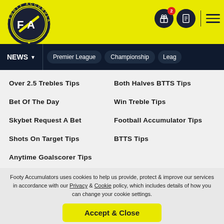[Figure (logo): Footy Accumulators circular logo with FA initials in dark circle on yellow background]
NEWS | Premier League | Championship | Leag
Over 2.5 Trebles Tips
Both Halves BTTS Tips
Bet Of The Day
Win Treble Tips
Skybet Request A Bet
Football Accumulator Tips
Shots On Target Tips
BTTS Tips
Anytime Goalscorer Tips
Footy Accumulators uses cookies to help us provide, protect & improve our services in accordance with our Privacy & Cookie policy, which includes details of how you can change your cookie settings.
Accept & Close